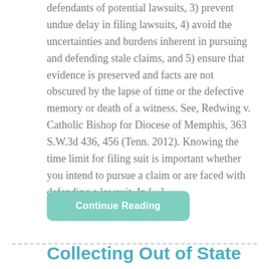defendants of potential lawsuits, 3) prevent undue delay in filing lawsuits, 4) avoid the uncertainties and burdens inherent in pursuing and defending stale claims, and 5) ensure that evidence is preserved and facts are not obscured by the lapse of time or the defective memory or death of a witness. See, Redwing v. Catholic Bishop for Diocese of Memphis, 363 S.W.3d 436, 456 (Tenn. 2012). Knowing the time limit for filing suit is important whether you intend to pursue a claim or are faced with defending a lawsuit. In [...]
Continue Reading
Collecting Out of State Judgments in Tennessee: